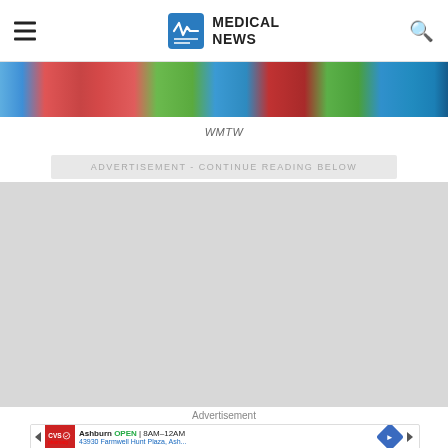MEDICAL NEWS
[Figure (photo): Colorful image strip showing various medical/nature scenes in red, blue, and green tones]
WMTW
ADVERTISEMENT - CONTINUE READING BELOW
[Figure (other): Grey advertisement placeholder area]
Advertisement
[Figure (other): CVS Pharmacy ad: Ashburn OPEN 8AM-12AM, 43930 Farmwell Hunt Plaza, Ash...]